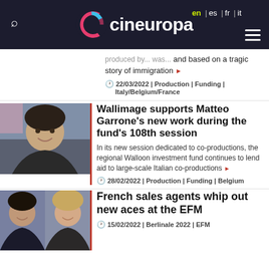cineuropa | en | es | fr | it
produced by ... and based on a tragic story of immigration
22/03/2022 | Production | Funding | Italy/Belgium/France
[Figure (photo): Photo of Matteo Garrone, smiling man at press event]
Wallimage supports Matteo Garrone's new work during the fund's 108th session
In its new session dedicated to co-productions, the regional Walloon investment fund continues to lend aid to large-scale Italian co-productions
28/02/2022 | Production | Funding | Belgium
[Figure (photo): Photo of two women, French sales agents]
French sales agents whip out new aces at the EFM
15/02/2022 | Berlinale 2022 | EFM